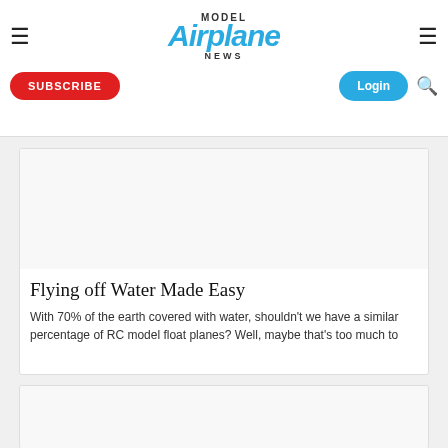Model Airplane News — SUBSCRIBE | Login
[Figure (screenshot): Article card image placeholder (white/light gray area)]
Flying off Water Made Easy
With 70% of the earth covered with water, shouldn't we have a similar percentage of RC model float planes? Well, maybe that's too much to
[Figure (screenshot): Second article card image placeholder (white/light gray area)]